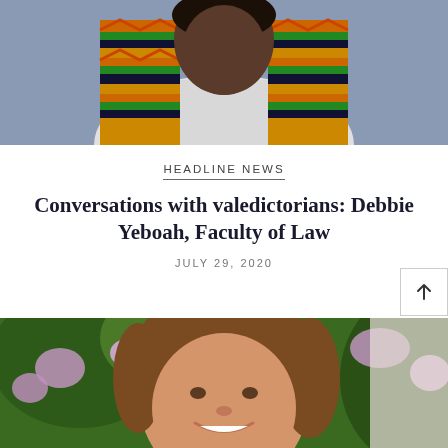[Figure (photo): Person wearing a colorful kente cloth stole, photographed from chest up, partial face visible, graduation attire]
HEADLINE NEWS
Conversations with valedictorians: Debbie Yeboah, Faculty of Law
JULY 29, 2020
[Figure (photo): Young woman with long brown hair smiling, photographed outdoors with purple flowering bushes and greenery in background]